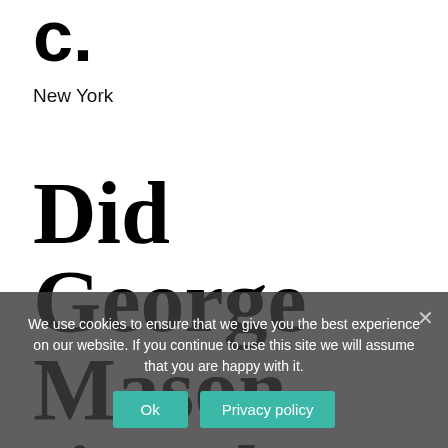c.
New York
Did George Mason sign the Articles
We use cookies to ensure that we give you the best experience on our website. If you continue to use this site we will assume that you are happy with it.
Ok  Privacy policy